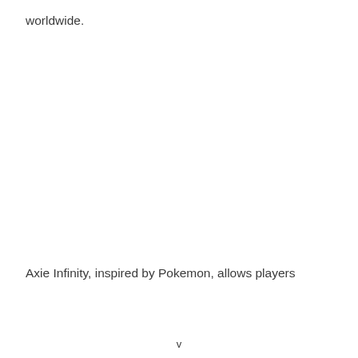worldwide.
Axie Infinity, inspired by Pokemon, allows players
v